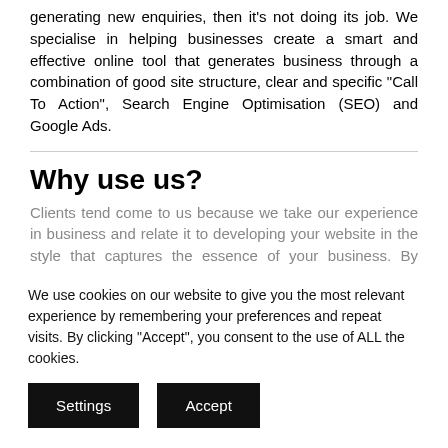generating new enquiries, then it's not doing its job. We specialise in helping businesses create a smart and effective online tool that generates business through a combination of good site structure, clear and specific "Call To Action", Search Engine Optimisation (SEO) and Google Ads.
Why use us?
Clients tend come to us because we take our experience in business and relate it to developing your website in the style that captures the essence of your business. By getting the look,
We use cookies on our website to give you the most relevant experience by remembering your preferences and repeat visits. By clicking "Accept", you consent to the use of ALL the cookies.